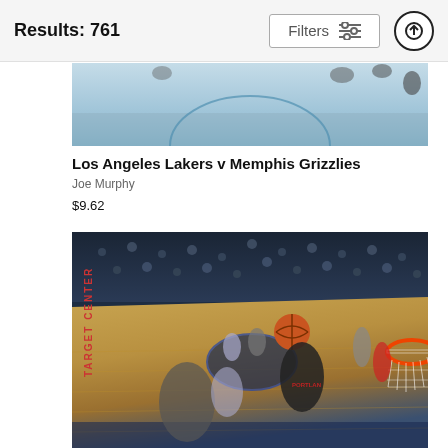Results: 761
[Figure (photo): Aerial view of NBA basketball court, Los Angeles Lakers v Memphis Grizzlies game]
Los Angeles Lakers v Memphis Grizzlies
Joe Murphy
$9.62
[Figure (photo): NBA basketball game action shot at Target Center, Portland Trail Blazers player driving to the basket with ball, defender contesting, overhead view]